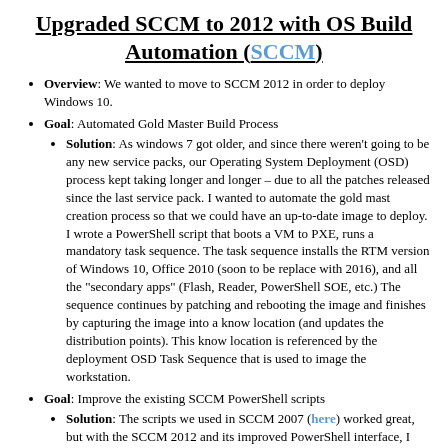Upgraded SCCM to 2012 with OS Build Automation (SCCM)
Overview: We wanted to move to SCCM 2012 in order to deploy Windows 10.
Goal: Automated Gold Master Build Process
Solution: As windows 7 got older, and since there weren't going to be any new service packs, our Operating System Deployment (OSD) process kept taking longer and longer – due to all the patches released since the last service pack. I wanted to automate the gold mast creation process so that we could have an up-to-date image to deploy. I wrote a PowerShell script that boots a VM to PXE, runs a mandatory task sequence. The task sequence installs the RTM version of Windows 10, Office 2010 (soon to be replace with 2016), and all the "secondary apps" (Flash, Reader, PowerShell SOE, etc.) The sequence continues by patching and rebooting the image and finishes by capturing the image into a know location (and updates the distribution points). This know location is referenced by the deployment OSD Task Sequence that is used to image the workstation.
Goal: Improve the existing SCCM PowerShell scripts
Solution: The scripts we used in SCCM 2007 (here) worked great, but with the SCCM 2012 and its improved PowerShell interface, I wanted to rewrite the existing scripts to use those better.